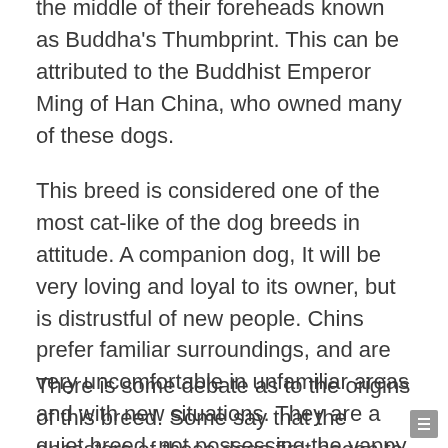the middle of their foreheads known as Buddha's Thumbprint. This can be attributed to the Buddhist Emperor Ming of Han China, who owned many of these dogs.
This breed is considered one of the most cat-like of the dog breeds in attitude. A companion dog, It will be very loving and loyal to its owner, but is distrustful of new people. Chins prefer familiar surroundings, and are very uncomfortable in unfamiliar areas and with new situations. They are a quiet breed, not possessing the yappy bark commonly associated with many of the toy breeds, making them excellent apartment dogs.
There is some debate as to the origins of this breed. Some say that the ancestors of these dogs first began to appear in Japan around the year 732, as gifts